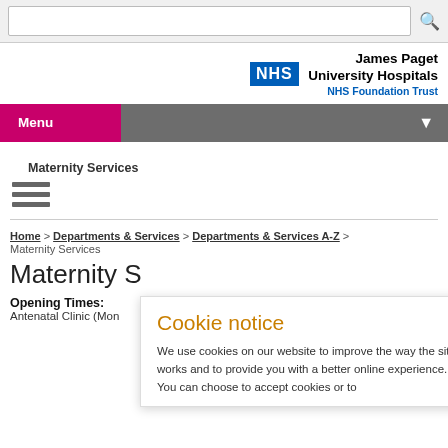[Figure (screenshot): Search bar with magnifying glass icon on grey background]
[Figure (logo): NHS logo (blue badge) with James Paget University Hospitals NHS Foundation Trust text]
Menu
Maternity Services
[Figure (other): Hamburger menu icon (three horizontal lines)]
Home > Departments & Services > Departments & Services A-Z >
Maternity Services
Maternity S
Opening Times:
Antenatal Clinic (Mon
Cookie notice
We use cookies on our website to improve the way the site works and to provide you with a better online experience. You can choose to accept cookies or to